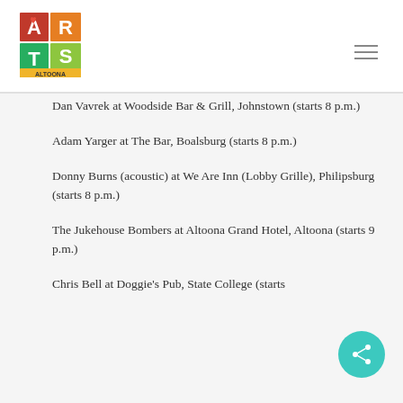Arts Altoona logo and navigation
Dan Vavrek at Woodside Bar & Grill, Johnstown (starts 8 p.m.)
Adam Yarger at The Bar, Boalsburg (starts 8 p.m.)
Donny Burns (acoustic) at We Are Inn (Lobby Grille), Philipsburg (starts 8 p.m.)
The Jukehouse Bombers at Altoona Grand Hotel, Altoona (starts 9 p.m.)
Chris Bell at Doggie's Pub, State College (starts